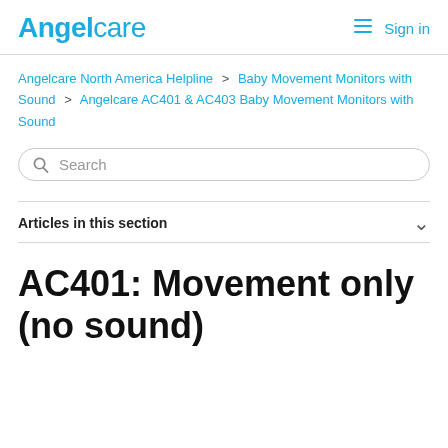Angelcare | Sign in
Angelcare North America Helpline > Baby Movement Monitors with Sound > Angelcare AC401 & AC403 Baby Movement Monitors with Sound
Search
Articles in this section
AC401: Movement only (no sound)